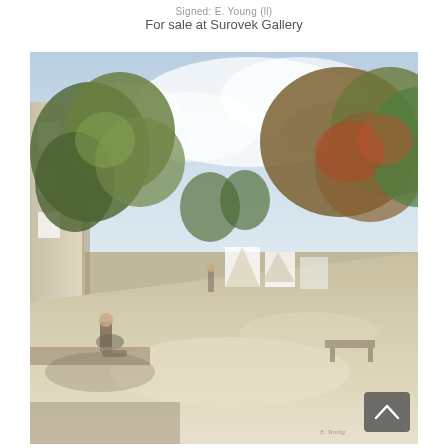Signed: E. Young (ll)
For sale at Surovek Gallery
[Figure (photo): Watercolor painting of a quiet road scene. A white building is visible on the left, lush green and autumn-colored trees line both sides of the road. A figure sits on a low wall in the foreground left, another figure walks in the middle distance. White structures appear in the background under a soft blue cloudy sky.]